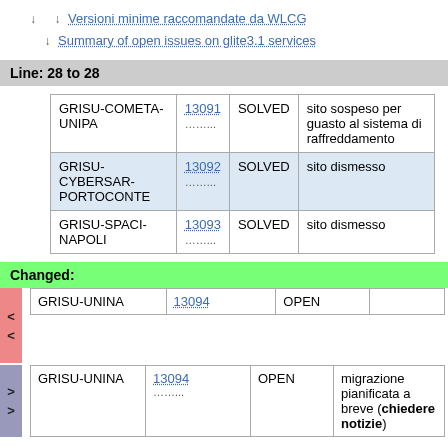↓  ↓ Versioni minime raccomandate da WLCG
↓ Summary of open issues on glite3.1 services
Line: 28 to 28
|  |  |  |  |
| --- | --- | --- | --- |
| GRISU-COMETA-UNIPA | 13091
....... | SOLVED | sito sospeso per guasto al sistema di raffreddamento |
| GRISU-CYBERSAR-PORTOCONTE | 13092
....... | SOLVED | sito dismesso |
| GRISU-SPACI-NAPOLI | 13093
....... | SOLVED | sito dismesso |
Changed:
|  |  |  |
| --- | --- | --- |
| GRISU-UNINA | 13094 | OPEN |
|  |  |  |  |
| --- | --- | --- | --- |
| GRISU-UNINA | 13094
....... | OPEN | migrazione pianificata a breve (chiedere notizie) |